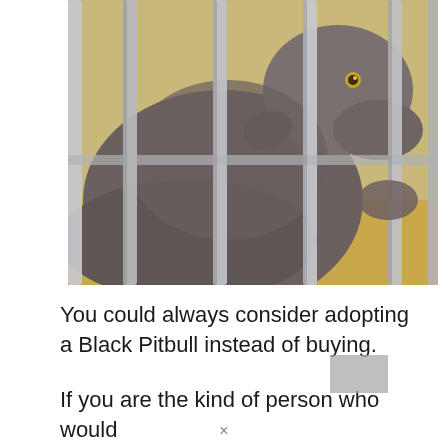[Figure (photo): A dark gray/brown Pitbull dog leaning against metal shelter cage bars, viewed from the side/back. The dog appears to be in an animal shelter kennel with a tan/yellow tiled background.]
You could always consider adopting a Black Pitbull instead of buying.
If you are the kind of person who would